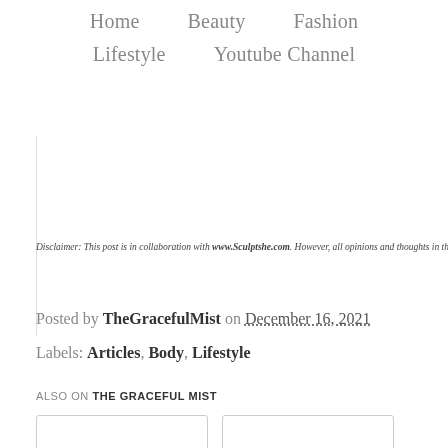Home   Beauty   Fashion   Lifestyle   Youtube Channel
Disclaimer: This post is in collaboration with www.Sculptshe.com. However, all opinions and thoughts in this
Posted by TheGracefulMist on December 16, 2021
Labels: Articles, Body, Lifestyle
ALSO ON THE GRACEFUL MIST